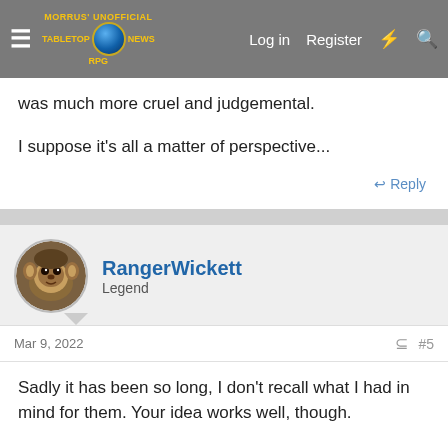Morrus' Unofficial Tabletop RPG News — Log in | Register
was much more cruel and judgemental.
I suppose it's all a matter of perspective...
Reply
RangerWickett
Legend
Mar 9, 2022
#5
Sadly it has been so long, I don't recall what I had in mind for them. Your idea works well, though.
Reply